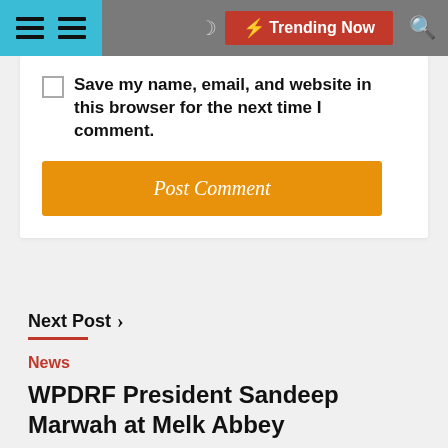Trending Now
Save my name, email, and website in this browser for the next time I comment.
Post Comment
Next Post >
News
WPDRF President Sandeep Marwah at Melk Abbey
Tue Sep 19 , 2017
Austria: The President of World Peace Development And Research Foundation with its international head quarters